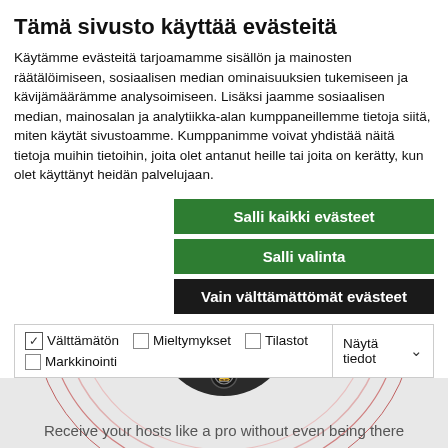Tämä sivusto käyttää evästeitä
Käytämme evästeitä tarjoamamme sisällön ja mainosten räätälöimiseen, sosiaalisen median ominaisuuksien tukemiseen ja kävijämäärämme analysoimiseen. Lisäksi jaamme sosiaalisen median, mainosalan ja analytiikka-alan kumppaneillemme tietoja siitä, miten käytät sivustoamme. Kumppanimme voivat yhdistää näitä tietoja muihin tietoihin, joita olet antanut heille tai joita on kerätty, kun olet käyttänyt heidän palvelujaan.
Salli kaikki evästeet
Salli valinta
Vain välttämättömät evästeet
| Välttämätön | Mieltymykset | Tilastot | Markkinointi | Näytä tiedot |
| --- | --- | --- | --- | --- |
[Figure (photo): Circular doorbell device with a person's face visible on screen, surrounded by pink/red curved lines on a light background. Text below reads: Receive your hosts like a pro without even being there]